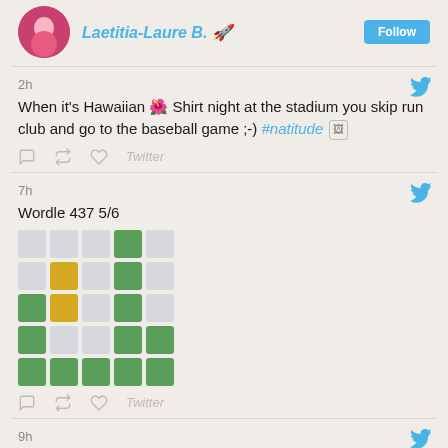Laetitia-Laure B. 🚀 [Follow]
2h
When it's Hawaiian 🌺 Shirt night at the stadium you skip run club and go to the baseball game ;-) #natitude 🖼
Twitter
7h
Wordle 437 5/6
[Figure (other): Wordle result grid showing 5 rows of 5 colored squares: row1: gray gray gray green gray; row2: gray yellow gray green gray; row3: green yellow gray green gray; row4: green gray gray green green; row5: green green green green green]
Twitter
9h